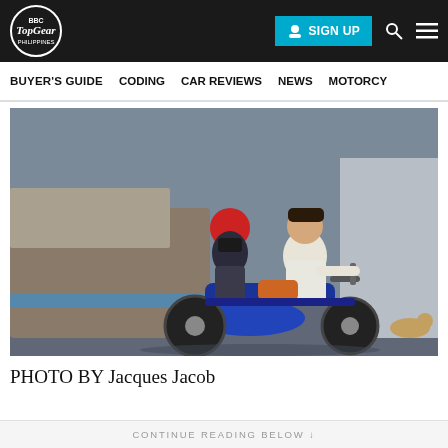Top Gear Philippines | SIGN UP
BUYER'S GUIDE   CODING   CAR REVIEWS   NEWS   MOTORCY
[Figure (photo): Two people riding a blue motorcycle on a street. The passenger wearing a red helmet and face mask, the rider in white shirt and white pants.]
PHOTO BY Jacques Jacob
CONTINUE READING BELOW ↓